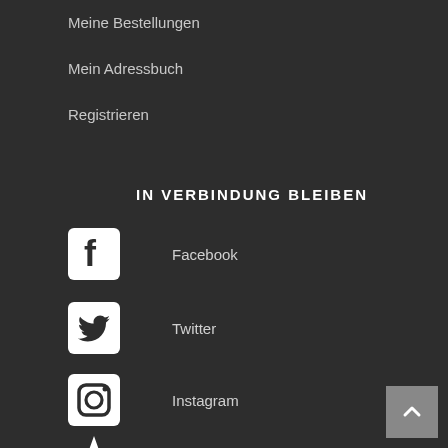Meine Bestellungen
Mein Adressbuch
Registrieren
IN VERBINDUNG BLEIBEN
Facebook
Twitter
Instagram
Blog Layup